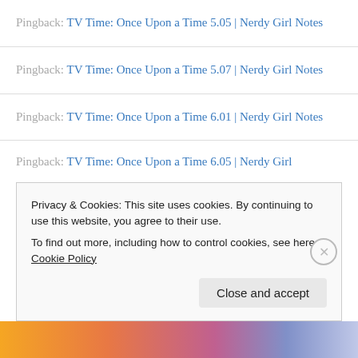Pingback: TV Time: Once Upon a Time 5.05 | Nerdy Girl Notes
Pingback: TV Time: Once Upon a Time 5.07 | Nerdy Girl Notes
Pingback: TV Time: Once Upon a Time 6.01 | Nerdy Girl Notes
Pingback: TV Time: Once Upon a Time 6.05 | Nerdy Girl
Privacy & Cookies: This site uses cookies. By continuing to use this website, you agree to their use.
To find out more, including how to control cookies, see here: Cookie Policy
Close and accept